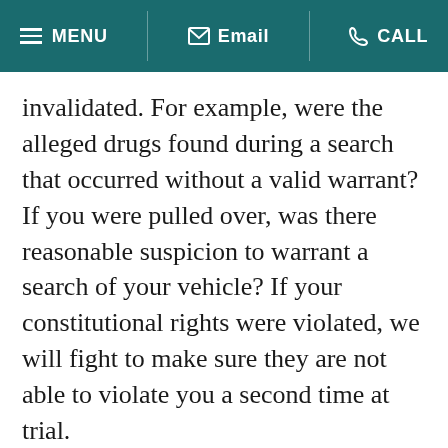MENU | Email | CALL
invalidated. For example, were the alleged drugs found during a search that occurred without a valid warrant? If you were pulled over, was there reasonable suspicion to warrant a search of your vehicle? If your constitutional rights were violated, we will fight to make sure they are not able to violate you a second time at trial.
Based on what we learn about your situation we will create a clear picture of your defense options and potential outcomes. If a plea agreement to a lesser charge is an option, we will make sure you understand the consequences so you can make an informed decision. If a plea is not in your best...